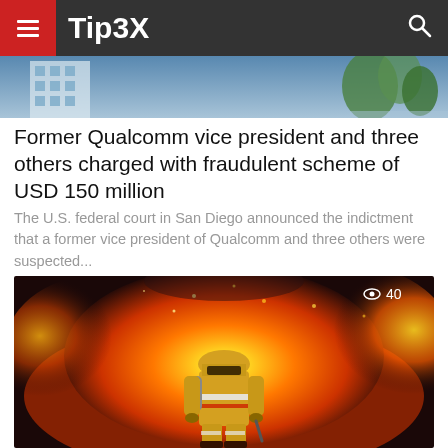Tip3X
[Figure (photo): Partial view of a building exterior against blue sky]
Former Qualcomm vice president and three others charged with fraudulent scheme of USD 150 million
The U.S. federal court in San Diego announced the indictment that a former vice president of Qualcomm and three others were suspected...
[Figure (photo): Firefighter in full gear standing in front of a large fire/explosion, with view count overlay showing 40]
AI may come to the rescue of firefighters of the future
With the continuous development of technology, the concept of "smart fire protection" has emerged in recent years. "Smart Fire"